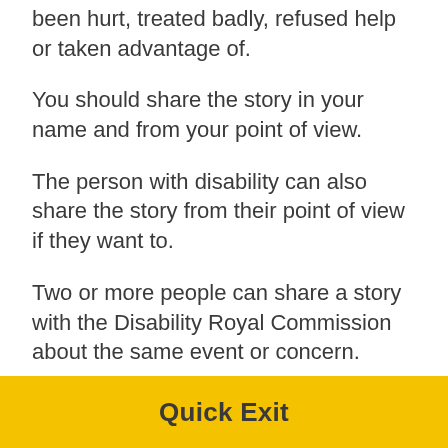been hurt, treated badly, refused help or taken advantage of.
You should share the story in your name and from your point of view.
The person with disability can also share the story from their point of view if they want to.
Two or more people can share a story with the Disability Royal Commission about the same event or concern.
Quick Exit